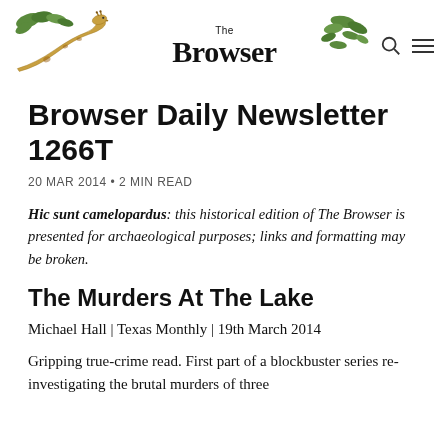The Browser
Browser Daily Newsletter 1266T
20 MAR 2014 • 2 MIN READ
Hic sunt camelopardus: this historical edition of The Browser is presented for archaeological purposes; links and formatting may be broken.
The Murders At The Lake
Michael Hall | Texas Monthly | 19th March 2014
Gripping true-crime read. First part of a blockbuster series re-investigating the brutal murders of three